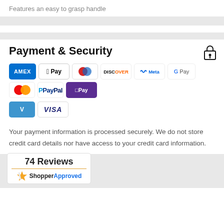Features an easy to grasp handle
[Figure (infographic): Payment method logos: Amex, Apple Pay, Diners Club, Discover, Meta Pay, Google Pay, Mastercard, PayPal, Shop Pay, Venmo, Visa]
Your payment information is processed securely. We do not store credit card details nor have access to your credit card information.
[Figure (other): 74 Reviews - Shopper Approved badge]